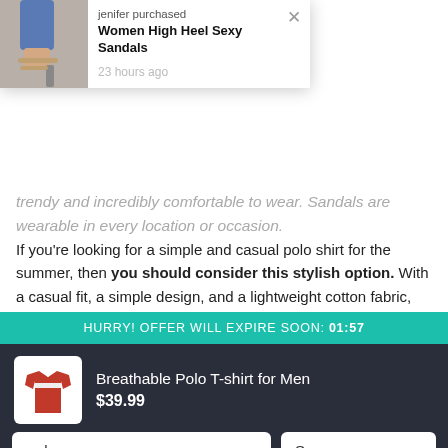[Figure (screenshot): Notification popup showing a woman's leg in high heel sandals, with text 'jenifer purchased', bold product name 'Women High Heel Sexy Sandals', and '23 hours ago'. An X close button is visible.]
trendy and incredibly comfortable to wear. Sandals are wearable in every location or occasion.
If you're looking for a simple and casual polo shirt for the summer, then you should consider this stylish option. With a casual fit, a simple design, and a lightweight cotton fabric, this polo shirt is a great option for sporting in the warmer months. It's a versatile shirt that can be used for a range of occasions.
HURRY! OFFER WILL EXPIRE SOON: 01:57
[Figure (photo): Small product image of a red breathable polo t-shirt for men]
Breathable Polo T-shirt for Men $39.99
red
S
Buy Now